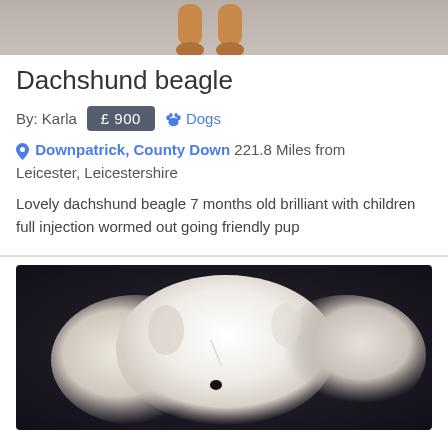[Figure (photo): Close-up photo of a dog's paws/legs on a grey carpet, cropped at top]
Dachshund beagle
By: Karla  £ 900  🐾 Dogs
📍 Downpatrick, County Down 221.8 Miles from Leicester, Leicestershire
Lovely dachshund beagle 7 months old brilliant with children full injection wormed out going friendly pup
[Figure (photo): Close-up photo of white puppies sleeping/cuddling together on a dark background]